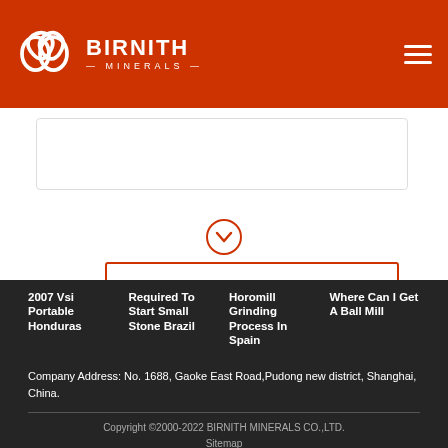BIRNITH MINERALS
[Figure (other): White card area with orange bordered button visible at top]
[Figure (other): Orange chevron/down arrow circle icon]
2007 Vsi Portable Honduras
Required To Start Small Stone Brazil
Horomill Grinding Process In Spain
Where Can I Get A Ball Mill
Company Address: No. 1688, Gaoke East Road,Pudong new district, Shanghai, China.
Copyright ©2000-2022 BIRNITH MINERALS CO.,LTD. Sitemap